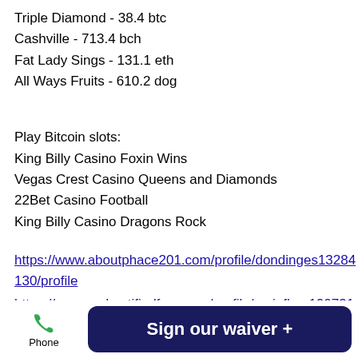Triple Diamond - 38.4 btc
Cashville - 713.4 bch
Fat Lady Sings - 131.1 eth
All Ways Fruits - 610.2 dog
Play Bitcoin slots:
King Billy Casino Foxin Wins
Vegas Crest Casino Queens and Diamonds
22Bet Casino Football
King Billy Casino Dragons Rock
https://www.aboutphace201.com/profile/dondinges13284130/profile
https://www.cydcertifiedforo.com/profile/amipflum19073124/profile
https://www.tiempodedespertar.com/profile/diegocaffrey4679291/profile
https://www.countryrappews.com/profile/tishl...
Phone
Sign our waiver +